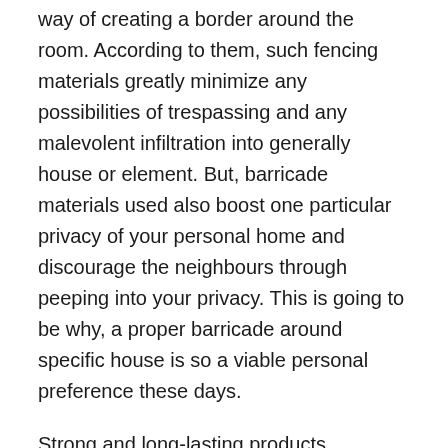way of creating a border around the room. According to them, such fencing materials greatly minimize any possibilities of trespassing and any malevolent infiltration into generally house or element. But, barricade materials used also boost one particular privacy of your personal home and discourage the neighbours through peeping into your privacy. This is going to be why, a proper barricade around specific house is so a viable personal preference these days.
Strong and long-lasting products
These contractors have definitely the right set of skills and on-the-job exposure. So, they can automatically offer a fine quality service in exact little time. The businesses are aware something like